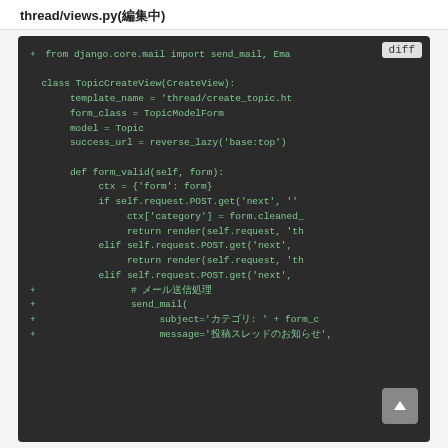thread/views.py(編集中)
[Figure (screenshot): A dark-themed code editor diff view showing Python code for thread/views.py. Green text on dark background. Shows a diff with added lines (marked with +) and existing code including a class TopicCreateView(CreateView) with template_name, form_class, model, success_url attributes and a form_valid method with conditional logic, plus added lines for send_mail functionality.]